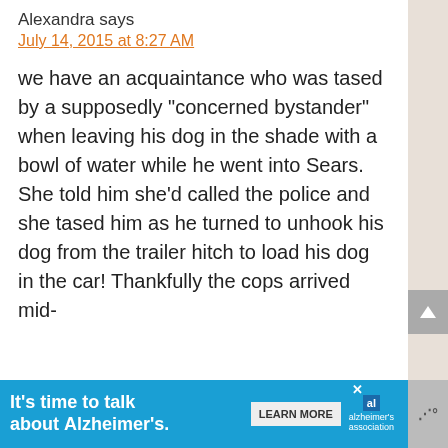Alexandra says
July 14, 2015 at 8:27 AM
we have an acquaintance who was tased by a supposedly “concerned bystander” when leaving his dog in the shade with a bowl of water while he went into Sears. She told him she’d called the police and she tased him as he turned to unhook his dog from the trailer hitch to load his dog in the car! Thankfully the cops arrived mid-
[Figure (screenshot): Advertisement banner for Alzheimer's Association: 'It's time to talk about Alzheimer's.' with a Learn More button and the Alzheimer's Association logo]